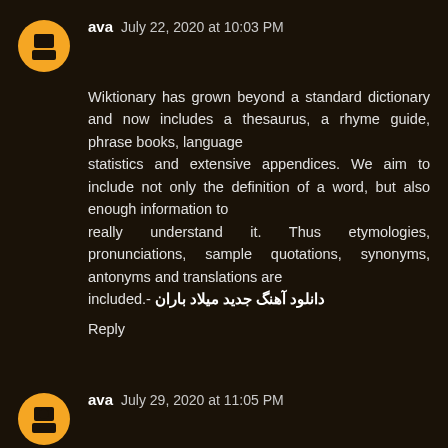ava  July 22, 2020 at 10:03 PM
Wiktionary has grown beyond a standard dictionary and now includes a thesaurus, a rhyme guide, phrase books, language statistics and extensive appendices. We aim to include not only the definition of a word, but also enough information to really understand it. Thus etymologies, pronunciations, sample quotations, synonyms, antonyms and translations are included.- دانلود آهنگ جدید میلاد باران
Reply
ava  July 29, 2020 at 11:05 PM
Wiktionary has grown beyond a standard dictionary